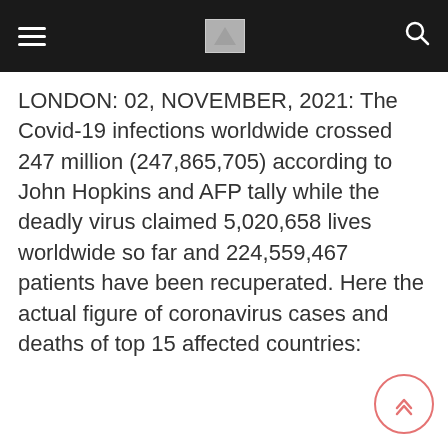Navigation bar with hamburger menu, logo, and search icon
LONDON: 02, NOVEMBER, 2021: The Covid-19 infections worldwide crossed 247 million (247,865,705) according to John Hopkins and AFP tally while the deadly virus claimed 5,020,658 lives worldwide so far and 224,559,467 patients have been recuperated. Here the actual figure of coronavirus cases and deaths of top 15 affected countries: